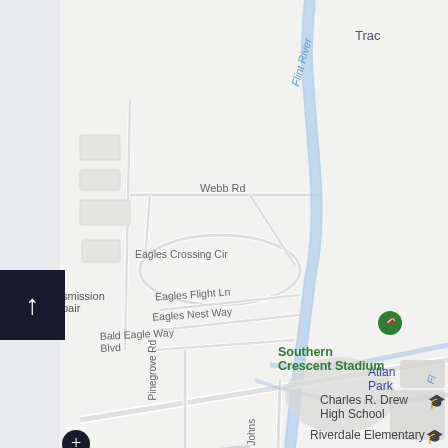[Figure (map): Google Maps screenshot showing area around Southern Crescent Stadium, Charles R. Drew High School, and Riverdale Elementary in Georgia near the Flint River. Shows roads including Webb Rd, Eagles Crossing Cir, Eagles Flight Ln, Eagles Nest Way, Bald Eagle Way Blvd, Pinegrove Rd, and partial labels for Transmission Repair, Atlanta Park, and Tracy. A navigation up-arrow button is visible on the left side.]